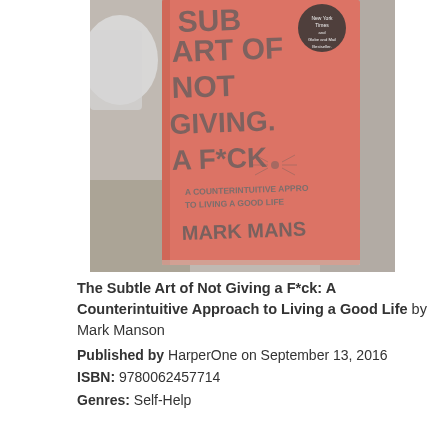[Figure (photo): Photo of the book 'The Subtle Art of Not Giving a F*ck' by Mark Manson showing the salmon/orange cover with large gray text and subtitle 'A Counterintuitive Approach to Living a Good Life', with a New York Times and Globe and Mail Bestseller badge, placed on a wooden surface with a partial white cup visible on the left.]
The Subtle Art of Not Giving a F*ck: A Counterintuitive Approach to Living a Good Life by Mark Manson
Published by HarperOne on September 13, 2016
ISBN: 9780062457714
Genres: Self-Help